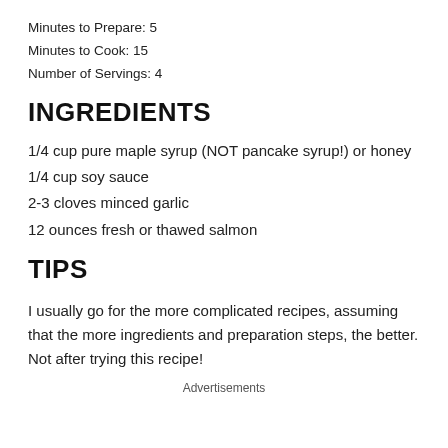Minutes to Prepare: 5
Minutes to Cook: 15
Number of Servings: 4
INGREDIENTS
1/4 cup pure maple syrup (NOT pancake syrup!) or honey
1/4 cup soy sauce
2-3 cloves minced garlic
12 ounces fresh or thawed salmon
TIPS
I usually go for the more complicated recipes, assuming that the more ingredients and preparation steps, the better. Not after trying this recipe!
Advertisements